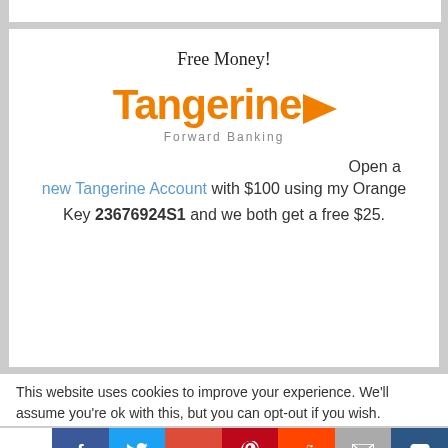Free Money!
[Figure (logo): Tangerine bank logo — orange bold 'Tangerine' text with orange right-pointing triangle arrow, tagline 'Forward Banking' in grey below]
Open a new Tangerine Account with $100 using my Orange Key 23676924S1 and we both get a free $25.
This website uses cookies to improve your experience. We'll assume you're ok with this, but you can opt-out if you wish.
Shares